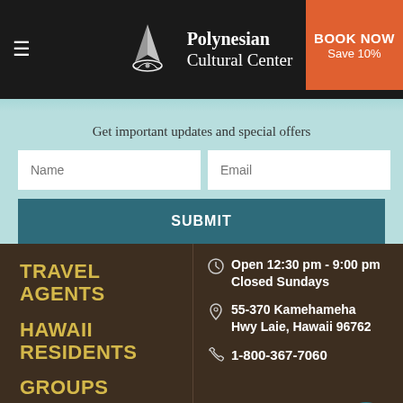Polynesian Cultural Center — BOOK NOW Save 10%
Get important updates and special offers
Name
Email
SUBMIT
TRAVEL AGENTS
HAWAII RESIDENTS
GROUPS
AFFILIATES
Open 12:30 pm - 9:00 pm
Closed Sundays
55-370 Kamehameha Hwy Laie, Hawaii 96762
1-800-367-7060